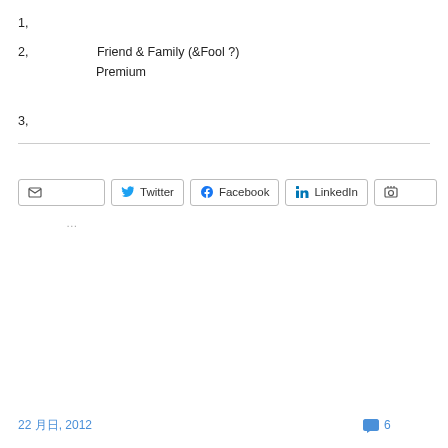1, 日本語テキストが含まれるリストアイテムの内容がここに表示されます
2, 日本語テキストFriend & Family (&Fool ?)日本語テキストが続きます日本語テキストがPremium日本語テキストが続きます日本語テキストが続く
3, 日本語テキストが含まれるリストアイテム
シェア
メール Twitter Facebook LinkedIn 印刷
読み込み中…
22 月, 2012
6 コメント